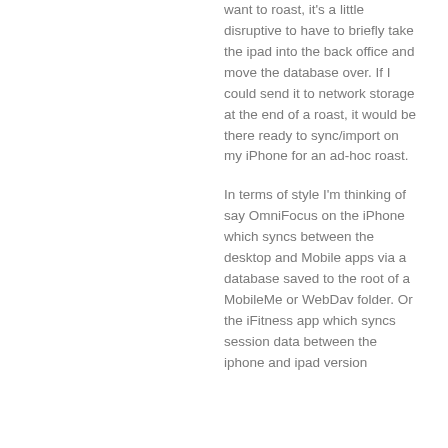want to roast, it's a little disruptive to have to briefly take the ipad into the back office and move the database over. If I could send it to network storage at the end of a roast, it would be there ready to sync/import on my iPhone for an ad-hoc roast.
In terms of style I'm thinking of say OmniFocus on the iPhone which syncs between the desktop and Mobile apps via a database saved to the root of a MobileMe or WebDav folder. Or the iFitness app which syncs session data between the iphone and ipad version